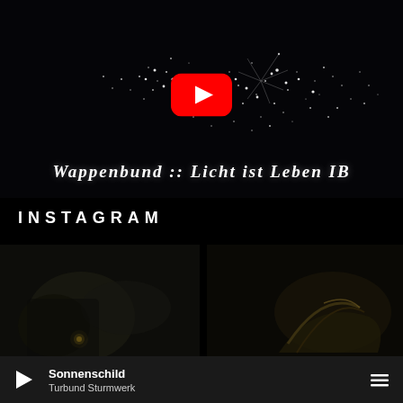[Figure (screenshot): YouTube video thumbnail showing a dark night-time satellite view of Europe with glowing city lights forming land masses. A red YouTube play button is centered. Gothic/blackletter text reads 'Wappenbund :: Licht ist Leben IB' at the bottom.]
INSTAGRAM
[Figure (photo): Dark, moody Instagram thumbnail showing blurry dark shapes with a small bright light highlight, appearing to show a dark figure or object.]
[Figure (photo): Dark Instagram thumbnail showing what appears to be a metallic or armored figure or instrument, dark brown/gold tones.]
Sonnenschild
Turbund Sturmwerk